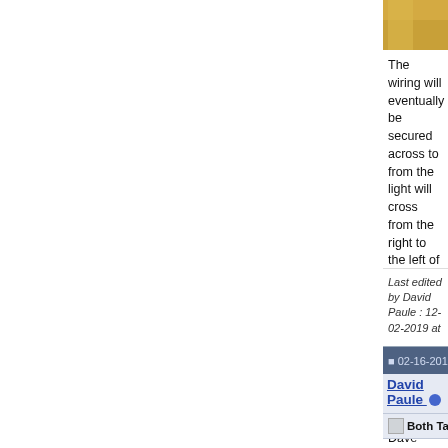[Figure (photo): Top portion of a photo showing a yellow/golden colored surface, likely an aircraft wing or fuselage interior, partially visible at the top of the page]
The wiring will eventually be secured across to from the light will cross from the right to the left of the controls.

The black electrical tape in the upper left is sim

Dave
Last edited by David Paule : 12-02-2019 at 06:49 PM.
02-16-2015, 03:16 PM
David Paule
Both Tanks Riveted
I finished riveting both baffles on and dabbed se wings so that if there's any sealant close to the between the tanks and the wings, so the tanks c

That being the case, I only have a few screws i
[Figure (photo): Bottom portion showing a workshop/garage scene with what appears to be aircraft parts on a workbench, partially visible at the bottom of the page]